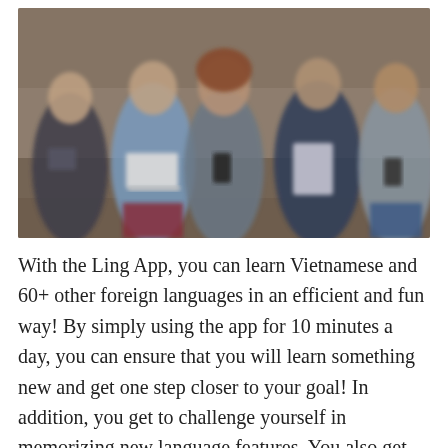[Figure (photo): A group of five young people leaning against a brick wall, each using a mobile device, tablet, laptop or smartphone, captured in a slightly blurred photo style.]
With the Ling App, you can learn Vietnamese and 60+ other foreign languages in an efficient and fun way! By simply using the app for 10 minutes a day, you can ensure that you will learn something new and get one step closer to your goal! In addition, you get to challenge yourself in memorizing new language features. You also get the chance to strengthen your